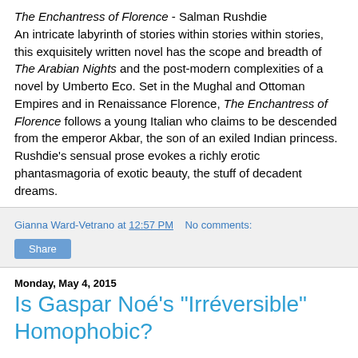The Enchantress of Florence - Salman Rushdie
An intricate labyrinth of stories within stories within stories, this exquisitely written novel has the scope and breadth of The Arabian Nights and the post-modern complexities of a novel by Umberto Eco. Set in the Mughal and Ottoman Empires and in Renaissance Florence, The Enchantress of Florence follows a young Italian who claims to be descended from the emperor Akbar, the son of an exiled Indian princess. Rushdie's sensual prose evokes a richly erotic phantasmagoria of exotic beauty, the stuff of decadent dreams.
Gianna Ward-Vetrano at 12:57 PM   No comments:
Share
Monday, May 4, 2015
Is Gaspar Noé's "Irréversible" Homophobic?